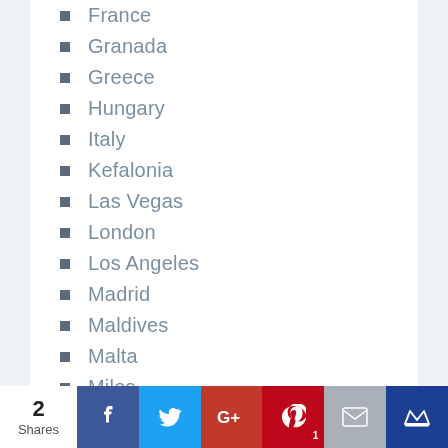France
Granada
Greece
Hungary
Italy
Kefalonia
Las Vegas
London
Los Angeles
Madrid
Maldives
Malta
Milos
Montenegro
Mykonos
Mykonos
Netherlands
New York
Paris